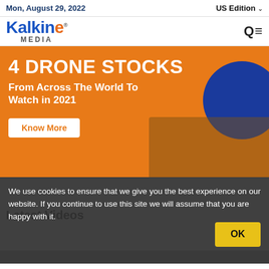Mon, August 29, 2022 | US Edition
[Figure (logo): Kalkine Media logo with orange globe icon]
[Figure (infographic): Orange banner advertisement: 4 DRONE STOCKS From Across The World To Watch in 2021, with Know More button, blue circle, and photo of worker with drone]
We use cookies to ensure that we give you the best experience on our website. If you continue to use this site we will assume that you are happy with it.
Latest Videos